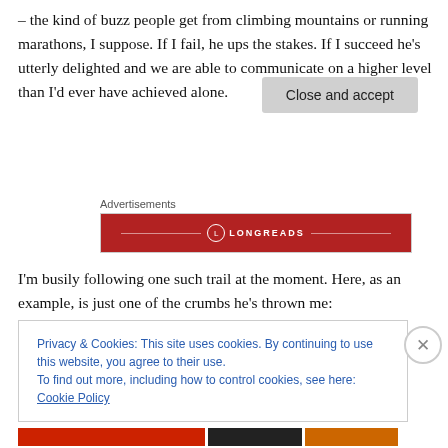– the kind of buzz people get from climbing mountains or running marathons, I suppose.  If I fail, he ups the stakes. If I succeed he's utterly delighted and we are able to communicate on a higher level than I'd ever have achieved alone.
[Figure (logo): Longreads advertisement banner — red background with LONGREADS logo in white text with decorative lines]
I'm busily following one such trail at the moment.  Here, as an example, is just one of the crumbs he's thrown me:
Privacy & Cookies: This site uses cookies. By continuing to use this website, you agree to their use.
To find out more, including how to control cookies, see here: Cookie Policy
Close and accept